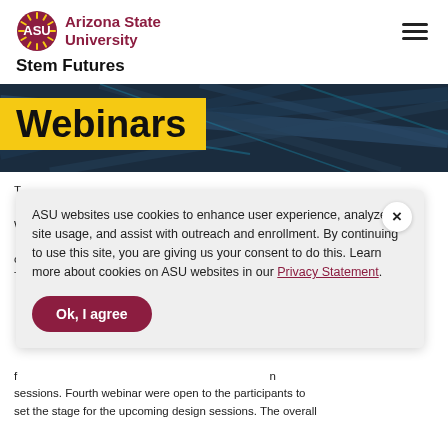[Figure (logo): ASU Arizona State University logo with sunburst icon]
Stem Futures
Webinars
ASU websites use cookies to enhance user experience, analyze site usage, and assist with outreach and enrollment. By continuing to use this site, you are giving us your consent to do this. Learn more about cookies on ASU websites in our Privacy Statement.
sessions. Fourth webinar were open to the participants to set the stage for the upcoming design sessions. The overall